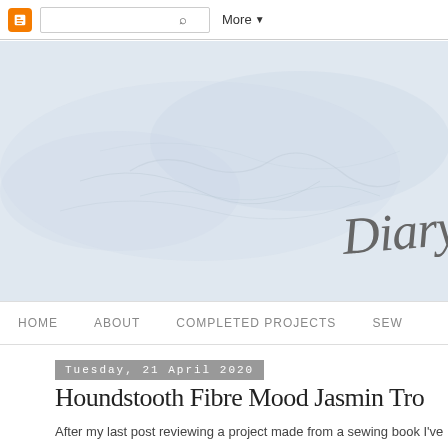Blogger navbar with search and More button
[Figure (illustration): Blog header banner with light blue-grey watercolor/textured background and 'Diary' written in cursive handwriting script on the right side]
Home   About   Completed Projects   Sew
Tuesday, 21 April 2020
Houndstooth Fibre Mood Jasmin Tro
After my last post reviewing a project made from a sewing book I've